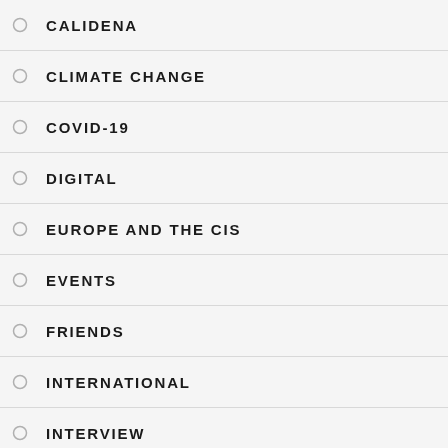CALIDENA
CLIMATE CHANGE
COVID-19
DIGITAL
EUROPE AND THE CIS
EVENTS
FRIENDS
INTERNATIONAL
INTERVIEW